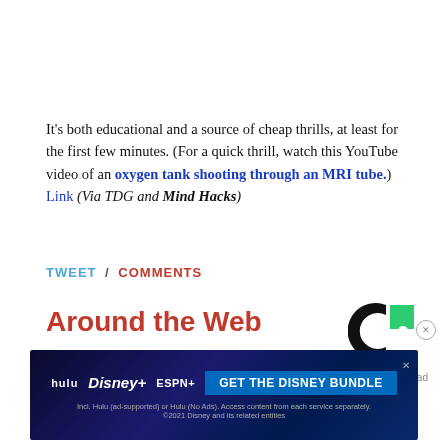It's both educational and a source of cheap thrills, at least for the first few minutes. (For a quick thrill, watch this YouTube video of an oxygen tank shooting through an MRI tube.) Link (Via TDG and Mind Hacks)
TWEET / COMMENTS
Around the Web
[Figure (logo): Taboola logo — circular C shape in black with green square]
Report an ad
[Figure (screenshot): Disney Bundle advertisement banner showing Hulu, Disney+, ESPN+ logos and 'GET THE DISNEY BUNDLE' call to action on dark blue background]